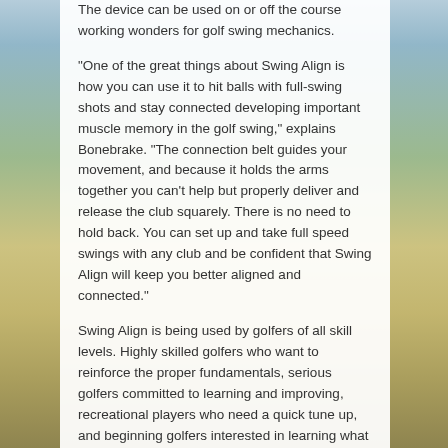The device can be used on or off the course working wonders for golf swing mechanics.
“One of the great things about Swing Align is how you can use it to hit balls with full-swing shots and stay connected developing important muscle memory in the golf swing,” explains Bonebrake. “The connection belt guides your movement, and because it holds the arms together you can’t help but properly deliver and release the club squarely. There is no need to hold back. You can set up and take full speed swings with any club and be confident that Swing Align will keep you better aligned and connected.”
Swing Align is being used by golfers of all skill levels. Highly skilled golfers who want to reinforce the proper fundamentals, serious golfers committed to learning and improving, recreational players who need a quick tune up, and beginning golfers interested in learning what the